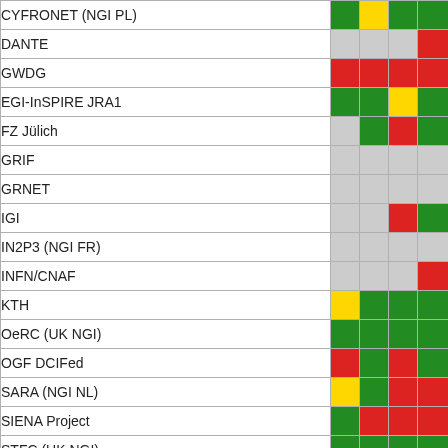| Organization | Col1 | Col2 | Col3 | Col4 |
| --- | --- | --- | --- | --- |
| CYFRONET (NGI PL) | green | yellow | green | green |
| DANTE | gray | gray | gray | red |
| GWDG | red | red | red | red |
| EGI-InSPIRE JRA1 | green | green | yellow | green |
| FZ Jülich | gray | green | red | green |
| GRIF | gray | gray | gray | gray |
| GRNET | gray | gray | gray | gray |
| IGI | gray | gray | red | green |
| IN2P3 (NGI FR) | gray | gray | gray | gray |
| INFN/CNAF | gray | gray | gray | red |
| KTH | yellow | green | green | green |
| OeRC (UK NGI) | green | green | green | green |
| OGF DCIFed | red | green | red | green |
| SARA (NGI NL) | yellow | green | red | red |
| SIENA Project | green | red | red | red |
| STFC (UK NGI) | green | green | green | green |